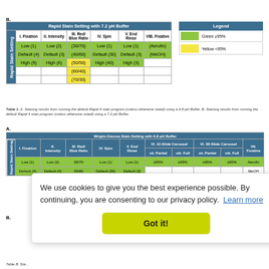B.
| Rapid Stain Setting with 7.2 pH Buffer | I. Fixation | II. Intensity | III. Red/Blue Ratio | IV. Spin | V. End Rinse | VIB. Fixative |
| --- | --- | --- | --- | --- | --- | --- |
| Low (1) | Low (2) | (30/70) | Low (1) | Low (1) | (Aerofx) |
| Default (4) | Default (3) | (40/60) | Default (30) | Default (3) | (MeOH) |
| High (9) | High (6) | (50/50) | High (40) | High (3) |  |
|  |  | (60/40) |  |  |  |
|  |  | (70/30) |  |  |  |
| Legend | Green ≥95% | Yellow <95% |
| --- | --- | --- |
Table 1. A. Staining results from running the default Rapid 4 stain program (unless otherwise noted) using a 6.8 pH Buffer. B. Staining results from running the default Rapid 4 stain program (unless otherwise noted) using a 7.2 pH Buffer.
A.
| Wright-Giemsa Stain Setting with 6.8 pH Buffer | I. Fixation | II. Intensity | III. Red/Blue Ratio | IV. Spin | V. End Rinse | VI. 12-Slide Carousel vii. Partial | VI. 12-Slide Carousel viii. Full | VI. 30-Slide Carousel vii. Partial | VI. 30-Slide Carousel viii. Full | VII. Fixative |
| --- | --- | --- | --- | --- | --- | --- | --- | --- | --- | --- |
| Low (1) | Low (2) | 30/70 | Low (1) | Low (1) | ≥95% | ≥95% | ≥95% | ≥95% | Aerofix |
| Default (4) | Default (4) | 40/60 | Default (30) | Default (3) |  |  |  |  | MeOH |
B.
We use cookies to give you the best experience possible. By continuing, you are consenting to our privacy policy. Learn more
Table B. Sta...